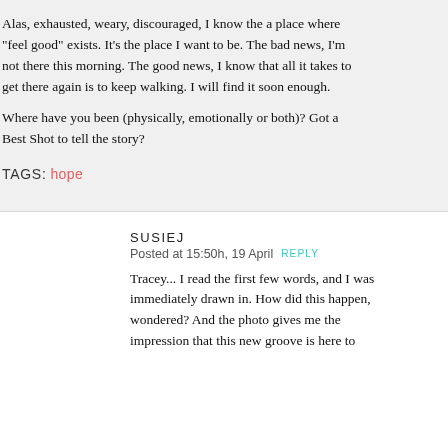Alas, exhausted, weary, discouraged, I know the a place where "feel good" exists. It's the place I want to be. The bad news, I'm not there this morning. The good news, I know that all it takes to get there again is to keep walking. I will find it soon enough.
Where have you been (physically, emotionally or both)? Got a Best Shot to tell the story?
TAGS: hope
SUSIEJ
Posted at 15:50h, 19 April REPLY
Tracey... I read the first few words, and I was immediately drawn in. How did this happen, wondered? And the photo gives me the impression that this new groove is here to